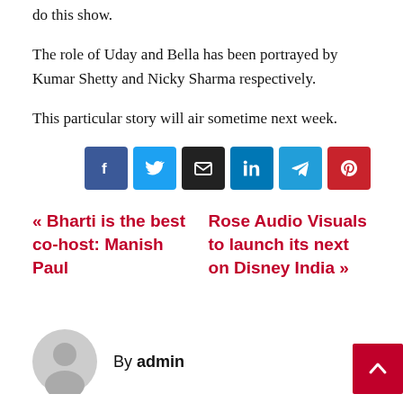do this show.
The role of Uday and Bella has been portrayed by Kumar Shetty and Nicky Sharma respectively.
This particular story will air sometime next week.
[Figure (infographic): Row of six social share buttons: Facebook (dark blue), Twitter (light blue), Email (black), LinkedIn (dark blue), Telegram (cyan), Pinterest (red)]
« Bharti is the best co-host: Manish Paul    Rose Audio Visuals to launch its next on Disney India »
By admin